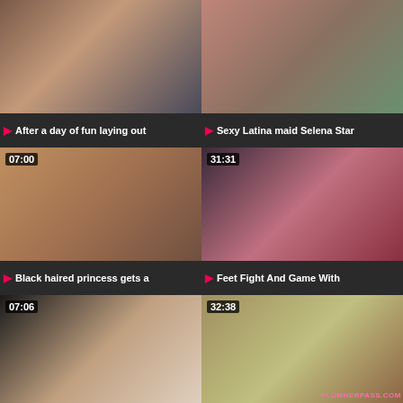[Figure (screenshot): Video thumbnail grid page showing adult video listings with thumbnails, durations, and titles]
After a day of fun laying out
Sexy Latina maid Selena Star
Black haired princess gets a
Feet Fight And Game With
A black dude that loves little
THE ACTUAL COUN